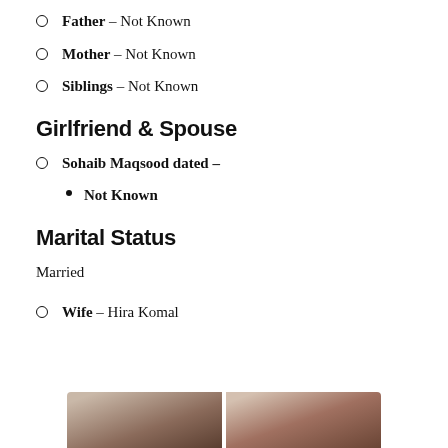Father – Not Known
Mother – Not Known
Siblings – Not Known
Girlfriend & Spouse
Sohaib Maqsood dated –
Not Known
Marital Status
Married
Wife – Hira Komal
[Figure (photo): Two portrait photos side by side, partially visible at the bottom of the page]